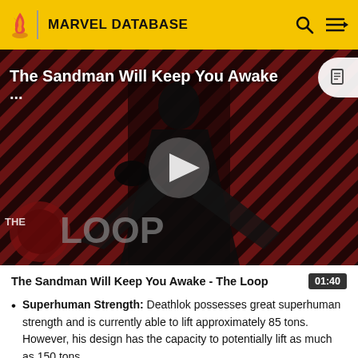MARVEL DATABASE
[Figure (screenshot): Video thumbnail showing a dark figure in a cape against a red diagonal stripe background with THE LOOP watermark and a play button overlay. Title text reads: The Sandman Will Keep You Awake.]
The Sandman Will Keep You Awake - The Loop  01:40
Superhuman Strength: Deathlok possesses great superhuman strength and is currently able to lift approximately 85 tons. However, his design has the capacity to potentially lift as much as 150 tons.